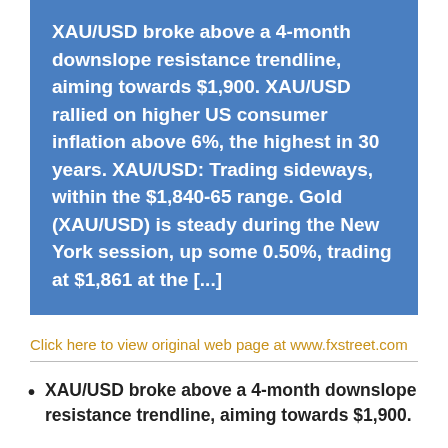XAU/USD broke above a 4-month downslope resistance trendline, aiming towards $1,900. XAU/USD rallied on higher US consumer inflation above 6%, the highest in 30 years. XAU/USD: Trading sideways, within the $1,840-65 range. Gold (XAU/USD) is steady during the New York session, up some 0.50%, trading at $1,861 at the [...]
Click here to view original web page at www.fxstreet.com
XAU/USD broke above a 4-month downslope resistance trendline, aiming towards $1,900.